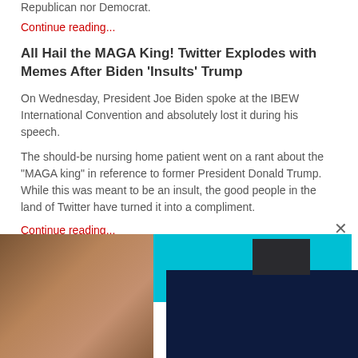Republican nor Democrat.
Continue reading...
All Hail the MAGA King! Twitter Explodes with Memes After Biden 'Insults' Trump
On Wednesday, President Joe Biden spoke at the IBEW International Convention and absolutely lost it during his speech.
The should-be nursing home patient went on a rant about the "MAGA king" in reference to former President Donald Trump. While this was meant to be an insult, the good people in the land of Twitter have turned it into a compliment.
Continue reading...
[Figure (photo): Screenshot of a news/blog webpage showing article text with overlapping UI elements including a dark popup labeled JSV, cyan block, dark overlay, and partial photos of people at the bottom.]